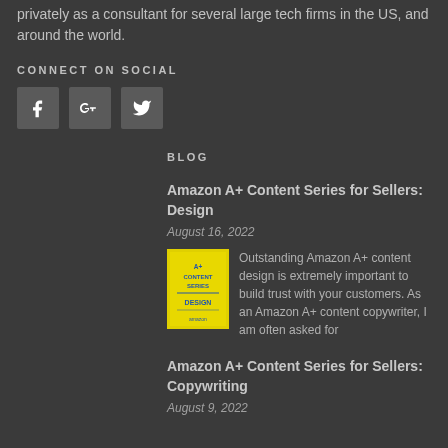privately as a consultant for several large tech firms in the US, and around the world.
CONNECT ON SOCIAL
[Figure (other): Three social media icon buttons: Facebook (f), Google+ (G+), Twitter (bird)]
BLOG
Amazon A+ Content Series for Sellers: Design
August 16, 2022
[Figure (illustration): Yellow book cover with text: A+ CONTENT SERIES DESIGN amazon]
Outstanding Amazon A+ content design is extremely important to build trust with your customers. As an Amazon A+ content copywriter, I am often asked for
Amazon A+ Content Series for Sellers: Copywriting
August 9, 2022